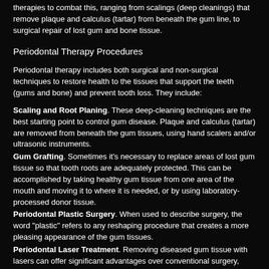therapies to combat this, ranging from scalings (deep cleanings) that remove plaque and calculus (tartar) from beneath the gum line, to surgical repair of lost gum and bone tissue.
Periodontal Therapy Procedures
Periodontal therapy includes both surgical and non-surgical techniques to restore health to the tissues that support the teeth (gums and bone) and prevent tooth loss. They include:
Scaling and Root Planing. These deep-cleaning techniques are the best starting point to control gum disease. Plaque and calculus (tartar) are removed from beneath the gum tissues, using hand scalers and/or ultrasonic instruments.
Gum Grafting. Sometimes it's necessary to replace areas of lost gum tissue so that tooth roots are adequately protected. This can be accomplished by taking healthy gum tissue from one area of the mouth and moving it to where it is needed, or by using laboratory-processed donor tissue.
Periodontal Plastic Surgery. When used to describe surgery, the word "plastic" refers to any reshaping procedure that creates a more pleasing appearance of the gum tissues.
Periodontal Laser Treatment. Removing diseased gum tissue with lasers can offer significant advantages over conventional surgery, such as less discomfort and gum shrinkage.
Crown Lengthening Surgery. This is a surgical procedure in which tooth structure that is covered by gum and bone tissue may need to be exposed either for cosmetic reasons (too make the teeth look longer and the smile less gummy) or to aid in securing a new dental crown.
Dental Implants. Today's preferred method of tooth replacement is a titanium dental implant, which is placed beneath the gum line and into the jawbone during a minor surgical procedure. The implant is then